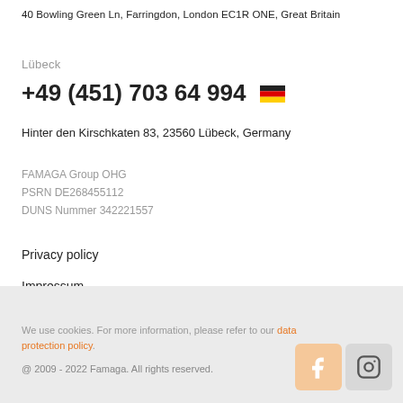40 Bowling Green Ln, Farringdon, London EC1R ONE, Great Britain
Lübeck
+49 (451) 703 64 994
Hinter den Kirschkaten 83, 23560 Lübeck, Germany
FAMAGA Group OHG
PSRN DE268455112
DUNS Nummer 342221557
Privacy policy
Impressum
We use cookies. For more information, please refer to our data protection policy.
@ 2009 - 2022 Famaga. All rights reserved.